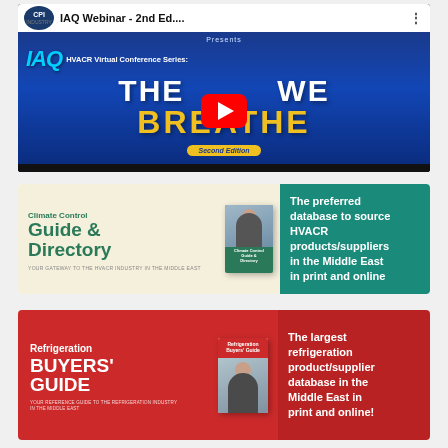[Figure (screenshot): YouTube video thumbnail for 'IAQ Webinar - 2nd Ed.' showing the IAQ HVACR Virtual Conference Series: 'THE AIR WE BREATHE - Second Edition' with a YouTube play button overlay]
[Figure (screenshot): Advertisement banner for 'Climate Control Guide & Directory' — The preferred database to source HVACR products/suppliers in the Middle East in print and online]
[Figure (screenshot): Advertisement banner for 'Refrigeration BUYERS' GUIDE' — The largest refrigeration product/supplier database in the Middle East in print and online!]